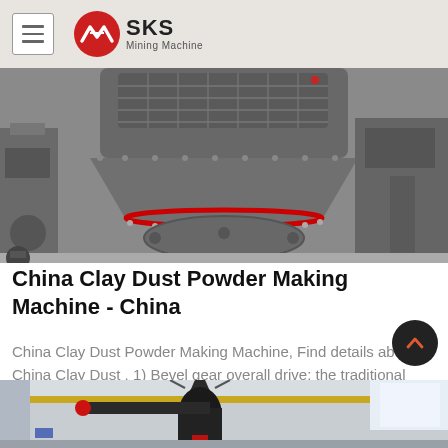SKS Mining Machine
[Figure (photo): Close-up photo of a large grey clay dust powder making machine / crusher with red ring detail and bolted flanges, industrial setting]
China Clay Dust Powder Making Machine - China
China Clay Dust Powder Making Machine, Find details about China Clay Dust , 1) Bevel gear overall drive: the traditional grinding mill is driven by speed.
[Figure (photo): Bottom portion of industrial building interior showing dust collection pipe/cyclone equipment with red-black pipe, yellow beam, white walls and natural lighting]